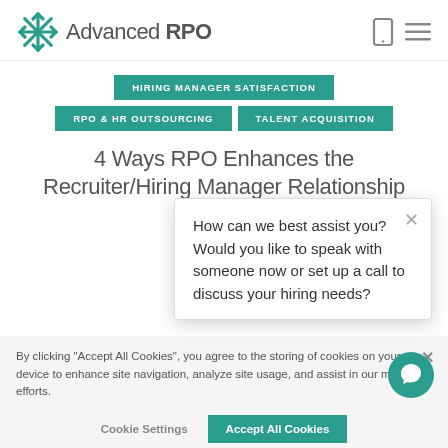Advanced RPO
HIRING MANAGER SATISFACTION
RPO & HR OUTSOURCING
TALENT ACQUISITION
4 Ways RPO Enhances the Recruiter/Hiring Manager Relationship
By Tim Oyer, Vice on Nov
How can we best assist you? Would you like to speak with someone now or set up a call to discuss your hiring needs?
By clicking "Accept All Cookies", you agree to the storing of cookies on your device to enhance site navigation, analyze site usage, and assist in our marketing efforts.
Cookie Settings
Accept All Cookies